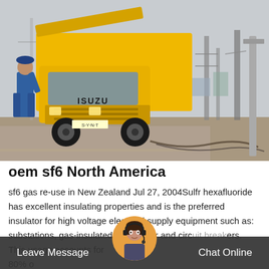[Figure (photo): A yellow Isuzu truck at an electrical substation or industrial yard. A person in blue workwear stands near the truck. Power transmission towers and equipment visible in the background. The truck's cargo area has an open yellow cover.]
oem sf6 North America
sf6 gas re-use in New Zealand Jul 27, 2004Sulfr hexafluoride has excellent insulating properties and is the preferred insulator for high voltage electrical supply equipment such as: substations, gas-insulated switchgear and circuit breakers. This usage accounts for 80% o...